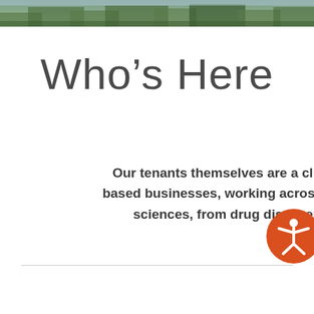[Figure (photo): Green foliage/trees photo strip at top of page]
Who's Here
Our tenants themselves are a cluster of biology and chemistry-based businesses, working across multiple disciplines with life sciences, from drug discovery to diagnostics to digital h
[Figure (illustration): Orange circular accessibility icon with human figure (wheelchair accessibility / assistive technology symbol)]